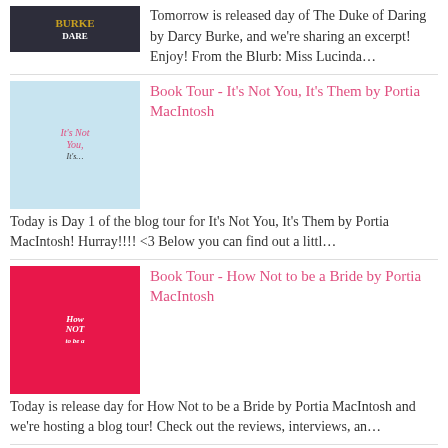[Figure (illustration): Book cover for The Duke of Daring by Darcy Burke, dark colored cover]
Tomorrow is released day of The Duke of Daring by Darcy Burke, and we're sharing an excerpt! Enjoy! From the Blurb: Miss Lucinda...
[Figure (illustration): Book cover for It's Not You, It's Them by Portia MacIntosh, blue/light cover with illustrated figures]
Book Tour - It's Not You, It's Them by Portia MacIntosh
Today is Day 1 of the blog tour for It's Not You, It's Them by Portia MacIntosh! Hurray!!!! <3 Below you can find out a littl...
[Figure (illustration): Book cover for How Not to be a Bride by Portia MacIntosh, red/pink cover]
Book Tour - How Not to be a Bride by Portia MacIntosh
Today is release day for How Not to be a Bride by Portia MacIntosh and we're hosting a blog tour! Check out the reviews, interviews, an...
[Figure (illustration): Book cover for Six Month Rule by A.J. Pine]
Six Month Rule by A.J. Pine - Book Excerpt